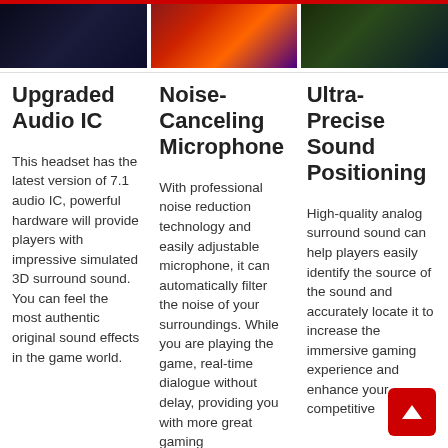[Figure (photo): Three gaming-themed images in a row at the top: left is a dark space/gaming scene, center is a colorful character with glowing effects, right is a character in green environment]
Upgraded Audio IC
This headset has the latest version of 7.1 audio IC, powerful hardware will provide players with impressive simulated 3D surround sound. You can feel the most authentic original sound effects in the game world.
Noise-Canceling Microphone
With professional noise reduction technology and easily adjustable microphone, it can automatically filter the noise of your surroundings. While you are playing the game, real-time dialogue without delay, providing you with more great gaming
Ultra-Precise Sound Positioning
High-quality analog surround sound can help players easily identify the source of the sound and accurately locate it to increase the immersive gaming experience and enhance your competitive